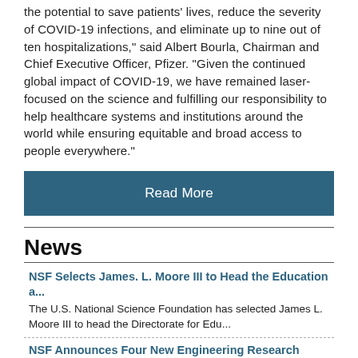the potential to save patients' lives, reduce the severity of COVID-19 infections, and eliminate up to nine out of ten hospitalizations," said Albert Bourla, Chairman and Chief Executive Officer, Pfizer. "Given the continued global impact of COVID-19, we have remained laser-focused on the science and fulfilling our responsibility to help healthcare systems and institutions around the world while ensuring equitable and broad access to people everywhere."
Read More
News
NSF Selects James. L. Moore III to Head the Education a...
The U.S. National Science Foundation has selected James L. Moore III to head the Directorate for Edu...
NSF Announces Four New Engineering Research Centers